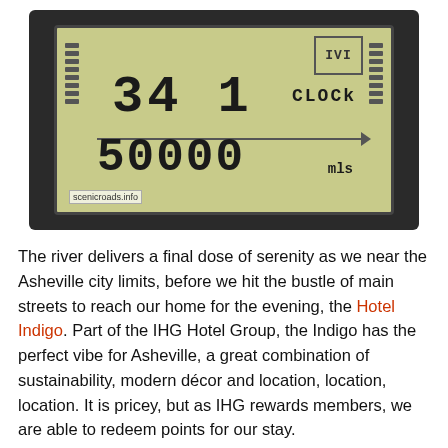[Figure (photo): Close-up photo of a bicycle computer/odometer displaying '341' at top, 'CLOCK' label, and '50000 mls' on the LCD screen. Watermark reads 'scenicroads.info'.]
The river delivers a final dose of serenity as we near the Asheville city limits, before we hit the bustle of main streets to reach our home for the evening, the Hotel Indigo. Part of the IHG Hotel Group, the Indigo has the perfect vibe for Asheville, a great combination of sustainability, modern décor and location, location, location. It is pricey, but as IHG rewards members, we are able to redeem points for our stay.
Once the bikes are safely parked for the evening in the underground parking garage, we wind down our wonderful day of riding with cool adult beverages while enjoying a spectacular sunset over the mountains. Sunset is followed by